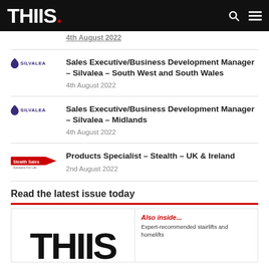THIIS.
Sales Executive/Business Development Manager – Silvalea – South West and South Wales
4th August 2022
Sales Executive/Business Development Manager – Silvalea – Midlands
4th August 2022
Products Specialist – Stealth – UK & Ireland
2nd August 2022
Read the latest issue today
[Figure (photo): Magazine cover preview showing THIIS magazine with 'Also inside... Expert-recommended stairlifts and homelifts' text]